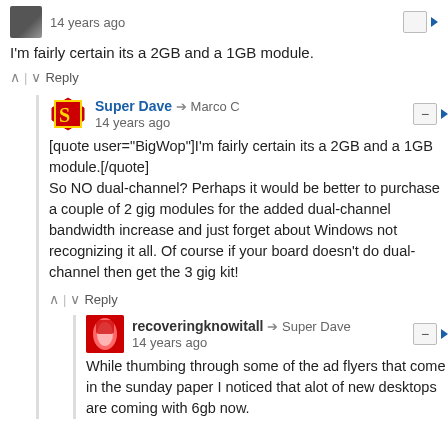14 years ago
I'm fairly certain its a 2GB and a 1GB module.
Reply
Super Dave → Marco C
14 years ago
[quote user="BigWop"]I'm fairly certain its a 2GB and a 1GB module.[/quote]
So NO dual-channel? Perhaps it would be better to purchase a couple of 2 gig modules for the added dual-channel bandwidth increase and just forget about Windows not recognizing it all. Of course if your board doesn't do dual-channel then get the 3 gig kit!
Reply
recoveringknowitall → Super Dave
14 years ago
While thumbing through some of the ad flyers that come in the sunday paper I noticed that alot of new desktops are coming with 6gb now.